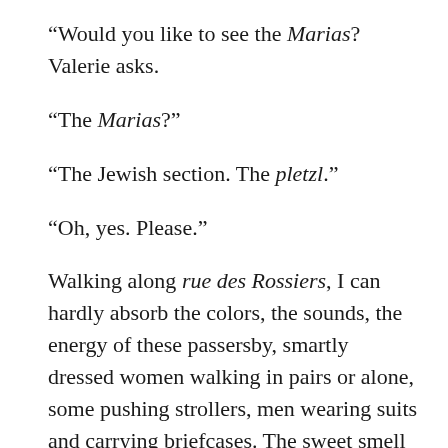“Would you like to see the Marias? Valerie asks.
“The Marias?”
“The Jewish section. The pletzl.”
“Oh, yes. Please.”
Walking along rue des Rossiers, I can hardly absorb the colors, the sounds, the energy of these passersby, smartly dressed women walking in pairs or alone, some pushing strollers, men wearing suits and carrying briefcases. The sweet smell of butter and yeast wafts from Sasha Finkelstajn, a Jewish bakery displaying what my grandmother used to call air kikhl, air cookies because they are crispy, crunchy and light as air.